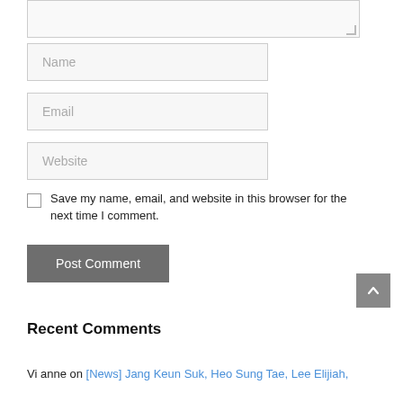[Figure (screenshot): Textarea form field with resize handle, partially visible at top of page]
Name
Email
Website
Save my name, email, and website in this browser for the next time I comment.
Post Comment
Recent Comments
Vianne on [News] Jang Keun Suk, Heo Sung Tae, Lee Elijiah,